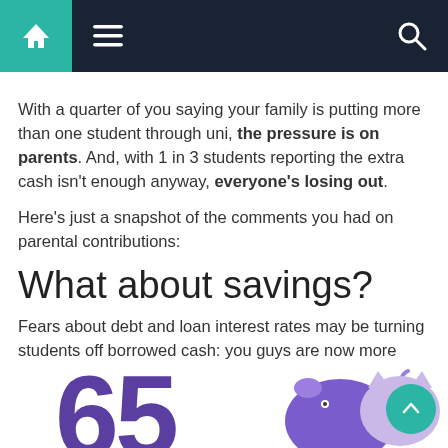Navigation bar with home, menu, and search icons
With a quarter of you saying your family is putting more than one student through uni, the pressure is on parents. And, with 1 in 3 students reporting the extra cash isn't enough anyway, everyone's losing out.
Here's just a snapshot of the comments you had on parental contributions:
What about savings?
Fears about debt and loan interest rates may be turning students off borrowed cash: you guys are now more likely to dip into your savings than an overdraft to pay your way.
[Figure (illustration): Large purple number '65' and a purple piggy bank illustration at the bottom of the page]